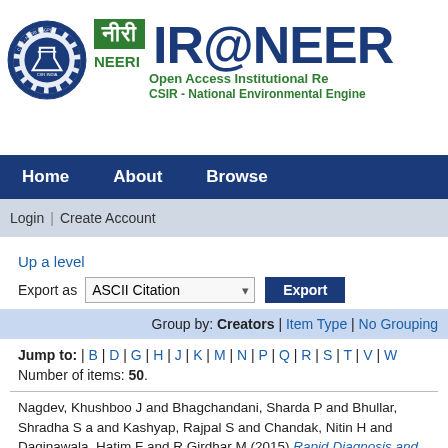[Figure (logo): IR@NEERI Open Access Institutional Repository logo with CSIR-NEERI branding, featuring gear/flask emblem and green NEERI box]
Home  About  Browse
Login | Create Account
Up a level
Export as  ASCII Citation  Export
Group by: Creators | Item Type | No Grouping
Jump to: | B | D | G | H | J | K | M | N | P | Q | R | S | T | V | W
Number of items: 50.
Nagdev, Khushboo J and Bhagchandani, Sharda P and Bhullar, Shradha S and Kashyap, Rajpal S and Chandak, Nitin H and Daginawala, Hatim F and Girdhar M (2015) Rapid Diagnosis and Simultaneous Identification of Tuberculous Meningitis by a Newly Developed Duplex Polymerase Chain Reaction. Indian